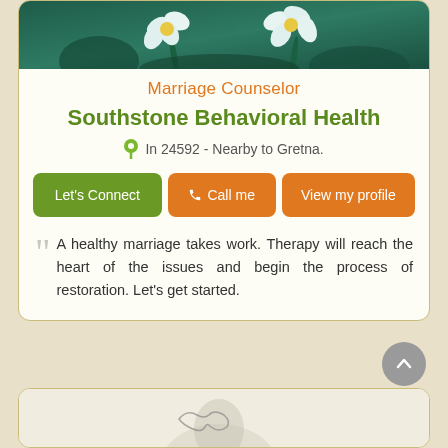[Figure (photo): Top portion of a card showing white flowers on dark teal/green background]
Marriage Counselor
Southstone Behavioral Health
In 24592 - Nearby to Gretna.
Let's Connect  Call me  View my profile
A healthy marriage takes work. Therapy will reach the heart of the issues and begin the process of restoration. Let's get started.
[Figure (photo): Bottom partial card showing person silhouette on light background]